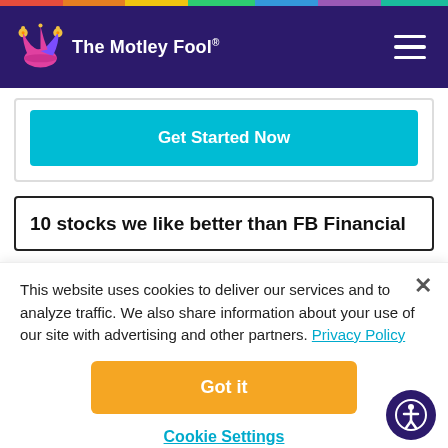The Motley Fool
Get Started Now
10 stocks we like better than FB Financial
This website uses cookies to deliver our services and to analyze traffic. We also share information about your use of our site with advertising and other partners. Privacy Policy
Got it
Cookie Settings